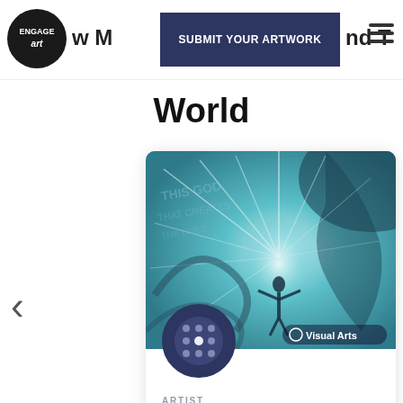Engage Art – New Media and The World – SUBMIT YOUR ARTWORK
World
[Figure (illustration): Painting of a human figure with arms outstretched amid radiating light beams on a teal/turquoise background with swirling forms, overlaid with faint text. A 'Visual Arts' badge appears bottom right. A social media profile grid overlay appears bottom left.]
ARTIST
David Sparks
TITLE